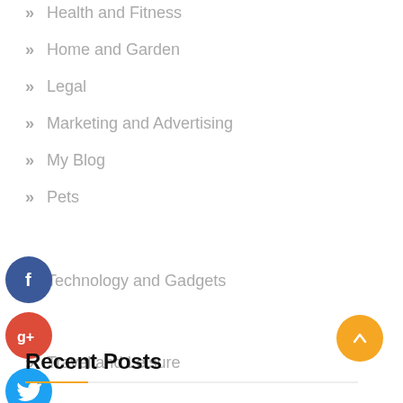Health and Fitness
Home and Garden
Legal
Marketing and Advertising
My Blog
Pets
Technology and Gadgets
Travel and Leisure
[Figure (infographic): Social share icons: Facebook (blue), Google+ (red), Twitter (light blue), Plus (dark blue)]
Recent Posts
[Figure (infographic): Scroll-to-top yellow circular button with upward arrow]